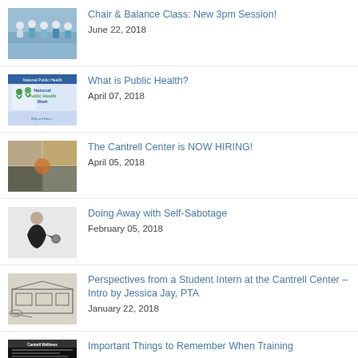Chair & Balance Class: New 3pm Session! | June 22, 2018
What is Public Health? | April 07, 2018
The Cantrell Center is NOW HIRING! | April 05, 2018
Doing Away with Self-Sabotage | February 05, 2018
Perspectives from a Student Intern at the Cantrell Center – Intro by Jessica Jay, PTA | January 22, 2018
Important Things to Remember When Training | January 15, 2018